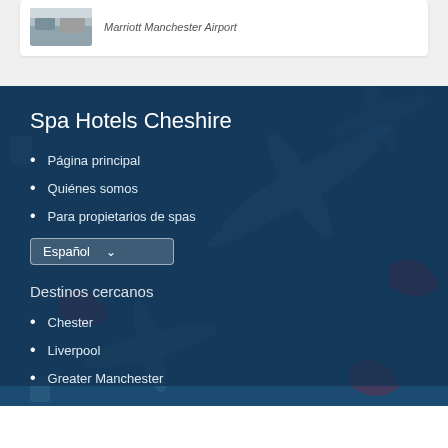[Figure (photo): Hotel room or spa image thumbnail for Marriott Manchester Airport]
Marriott Manchester Airport
Spa Hotels Cheshire
Página principal
Quiénes somos
Para propietarios de spas
Español
Destinos cercanos
Chester
Liverpool
Greater Manchester